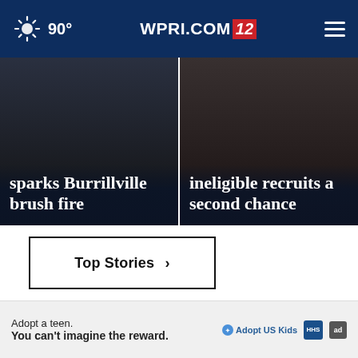90° WPRI.COM 12
[Figure (photo): News card showing text: sparks Burrillville brush fire on dark image background]
[Figure (photo): News card showing text: ineligible recruits a second chance on dark image background]
Top Stories ›
[Figure (photo): Advertisement image collage showing a smartphone camera capturing a scene on left, and a light bulb shaped security camera on right, with a close (x) button overlay]
Adopt a teen. You can't imagine the reward. Adopt US Kids ad